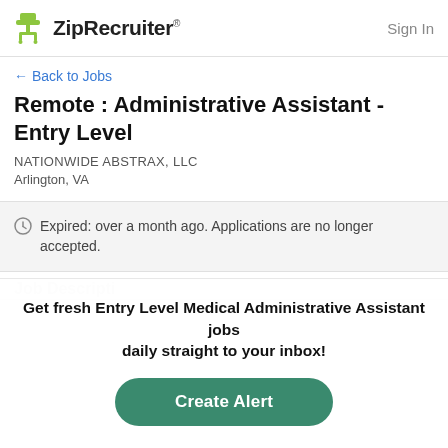ZipRecruiter® — Sign In
← Back to Jobs
Remote : Administrative Assistant - Entry Level
NATIONWIDE ABSTRAX, LLC
Arlington, VA
Expired: over a month ago. Applications are no longer accepted.
Job Description
Get fresh Entry Level Medical Administrative Assistant jobs daily straight to your inbox!
Create Alert